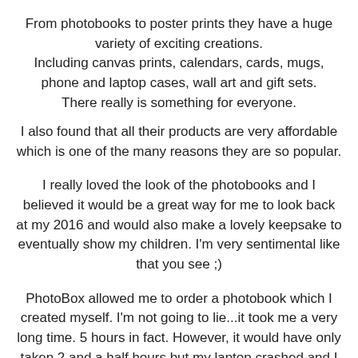From photobooks to poster prints they have a huge variety of exciting creations. Including canvas prints, calendars, cards, mugs, phone and laptop cases, wall art and gift sets. There really is something for everyone.
I also found that all their products are very affordable which is one of the many reasons they are so popular.
I really loved the look of the photobooks and I believed it would be a great way for me to look back at my 2016 and would also make a lovely keepsake to eventually show my children. I'm very sentimental like that you see ;)
PhotoBox allowed me to order a photobook which I created myself. I'm not going to lie...it took me a very long time. 5 hours in fact. However, it would have only taken 2 and a half hours but my laptop crashed and I lost the entire thing. Very frustrating but I managed to finally do it.
It was so so simple to create. You got step-by-step instructions, there are…